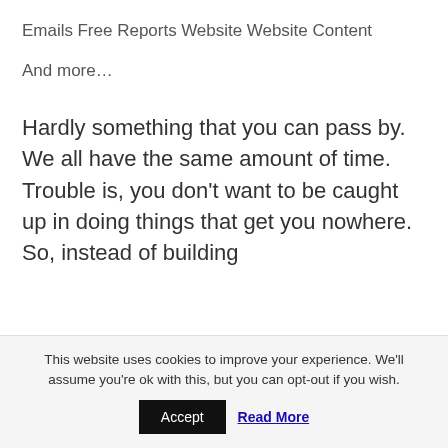Emails
Free Reports
Website
Website Content
And more…
Hardly something that you can pass by.  We all have the same amount of time.  Trouble is, you don't want to be caught up in doing things that get you nowhere.  So, instead of building
This website uses cookies to improve your experience. We'll assume you're ok with this, but you can opt-out if you wish.
Accept
Read More